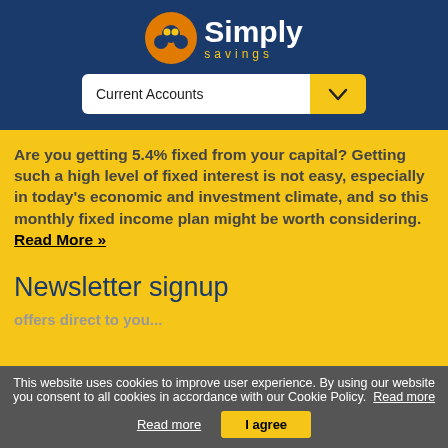[Figure (logo): Simply Savings logo with orange/yellow circular icon and white 'Simply' text with gold 'savings' subtitle on dark blue background]
Current Accounts
Are you getting 5.4% fixed from your capital? Getting such a high level of fixed interest is not easy, especially in today's economic and investment climate, and so this monthly fixed income plan might be worth considering. Read More »
Newsletter signup
This website uses cookies to improve user experience. By using our website you consent to all cookies in accordance with our Cookie Policy.  Read more    I agree